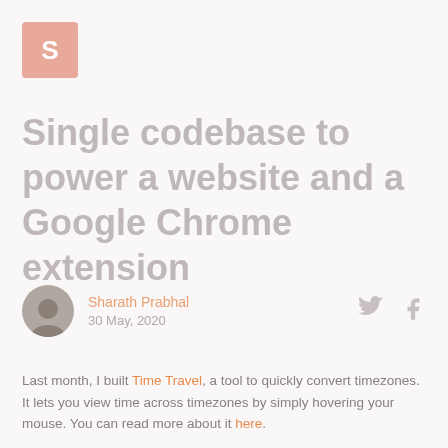[Figure (logo): Orange/salmon square logo with white letter S]
Single codebase to power a website and a Google Chrome extension
Sharath Prabhal
30 May, 2020
Last month, I built Time Travel, a tool to quickly convert timezones. It lets you view time across timezones by simply hovering your mouse. You can read more about it here.